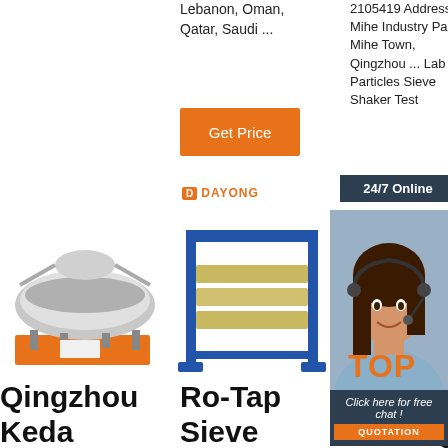Lebanon, Oman, Qatar, Saudi ...
2105419 Address Mihe Industry Park, Mihe Town, Qingzhou ... Lab Particles Sieve Shaker Test
Get Price
24/7 Online
G
Click here for free chat !
QUOTATION
[Figure (photo): Industrial vibrating sieve machine on orange base - Qingzhou Keda product]
[Figure (logo): Dayong brand logo in orange]
[Figure (photo): Ro-Tap sieve shaker machine by Dayong, blue metal frame]
[Figure (photo): Soil testing equipment product image with TOP graphic overlay]
[Figure (photo): Customer service representative with headset - 24/7 online chat widget]
Qingzhou
Keda
Ro-Tap
Sieve
Soil Testing
Equipment